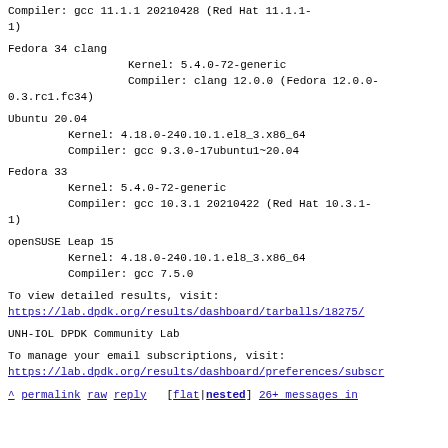Compiler: gcc 11.1.1 20210428 (Red Hat 11.1.1-1)
Fedora 34 clang
        Kernel: 5.4.0-72-generic
        Compiler: clang 12.0.0 (Fedora 12.0.0-0.3.rc1.fc34)
Ubuntu 20.04
        Kernel: 4.18.0-240.10.1.el8_3.x86_64
        Compiler: gcc 9.3.0-17ubuntu1~20.04
Fedora 33
        Kernel: 5.4.0-72-generic
        Compiler: gcc 10.3.1 20210422 (Red Hat 10.3.1-1)
openSUSE Leap 15
        Kernel: 4.18.0-240.10.1.el8_3.x86_64
        Compiler: gcc 7.5.0
To view detailed results, visit:
https://lab.dpdk.org/results/dashboard/tarballs/18275/
UNH-IOL DPDK Community Lab
To manage your email subscriptions, visit:
https://lab.dpdk.org/results/dashboard/preferences/subscr...
^ permalink raw reply  [flat|nested] 26+ messages in thread